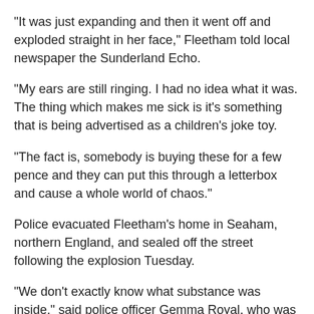"It was just expanding and then it went off and exploded straight in her face," Fleetham told local newspaper the Sunderland Echo.
"My ears are still ringing. I had no idea what it was. The thing which makes me sick is it's something that is being advertised as a children's joke toy.
"The fact is, somebody is buying these for a few pence and they can put this through a letterbox and cause a whole world of chaos."
Police evacuated Fleetham's home in Seaham, northern England, and sealed off the street following the explosion Tuesday.
"We don't exactly know what substance was inside," said police officer Gemma Royal, who was investigating reports that three boys were responsible for mailing the bag.
"We've not had it tested, but it's some sort of reactant which